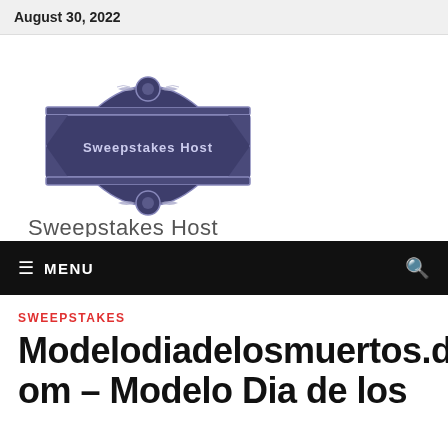August 30, 2022
[Figure (logo): Sweepstakes Host logo — dark navy badge shape with ornamental scrollwork and a horizontal bar, with the text 'Sweepstakes Host' below]
MENU
SWEEPSTAKES
Modelodiadelosmuertos.dja.com – Modelo Dia de los